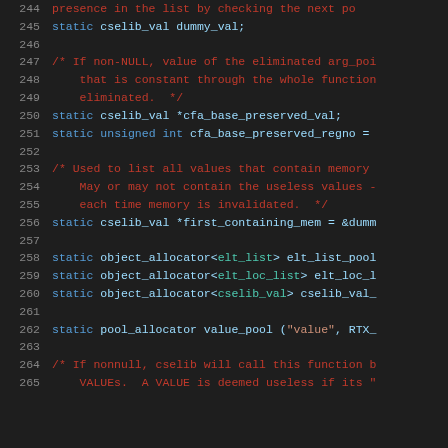244   presence in the list by checking the next po
245   static cselib_val dummy_val;
246
247   /* If non-NULL, value of the eliminated arg_poi
248       that is constant through the whole function
249       eliminated.  */
250   static cselib_val *cfa_base_preserved_val;
251   static unsigned int cfa_base_preserved_regno =
252
253   /* Used to list all values that contain memory
254       May or may not contain the useless values -
255       each time memory is invalidated.  */
256   static cselib_val *first_containing_mem = &dumm
257
258   static object_allocator<elt_list> elt_list_pool
259   static object_allocator<elt_loc_list> elt_loc_l
260   static object_allocator<cselib_val> cselib_val_
261
262   static pool_allocator value_pool ("value", RTX_
263
264   /* If nonnull, cselib will call this function b
265       VALUEs.  A VALUE is deemed useless if its "